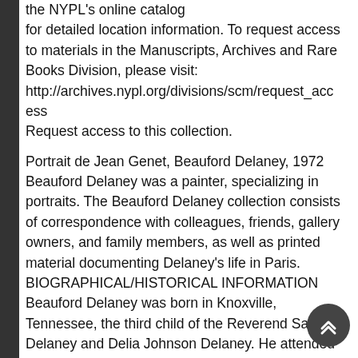the NYPL's online catalog for detailed location information. To request access to materials in the Manuscripts, Archives and Rare Books Division, please visit: http://archives.nypl.org/divisions/scm/request_access Request access to this collection.
Portrait de Jean Genet, Beauford Delaney, 1972 Beauford Delaney was a painter, specializing in portraits. The Beauford Delaney collection consists of correspondence with colleagues, friends, gallery owners, and family members, as well as printed material documenting Delaney's life in Paris. BIOGRAPHICAL/HISTORICAL INFORMATION Beauford Delaney was born in Knoxville, Tennessee, the third child of the Reverend Samuel Delaney and Delia Johnson Delaney. He attended the Knoxville Colored School and later studied art with an elderly Knoxville artist, who encouraged him to get further training. In 1924 Delaney went to Boston where he studied at the Massachusetts Normal School and the South Boston School of Art, and attended evening classes at the Copley Society. Delaney went to New York in 1929, settling at first in Harlem. He